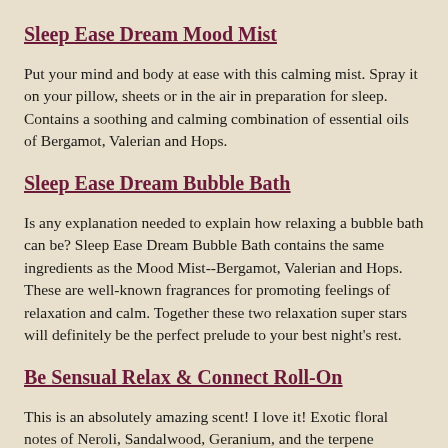Sleep Ease Dream Mood Mist
Put your mind and body at ease with this calming mist. Spray it on your pillow, sheets or in the air in preparation for sleep. Contains a soothing and calming combination of essential oils of Bergamot, Valerian and Hops.
Sleep Ease Dream Bubble Bath
Is any explanation needed to explain how relaxing a bubble bath can be? Sleep Ease Dream Bubble Bath contains the same ingredients as the Mood Mist--Bergamot, Valerian and Hops. These are well-known fragrances for promoting feelings of relaxation and calm. Together these two relaxation super stars will definitely be the perfect prelude to your best night's rest.
Be Sensual Relax & Connect Roll-On
This is an absolutely amazing scent! I love it! Exotic floral notes of Neroli, Sandalwood, Geranium, and the terpene nerolidal help you relax and get into the zone. It is great as